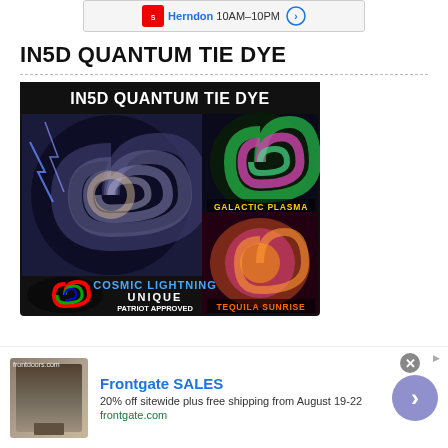[Figure (screenshot): Safeway Herndon 10AM-10PM advertisement banner at top]
IN5D QUANTUM TIE DYE
[Figure (photo): IN5D Quantum Tie Dye product image showing multiple tie-dye t-shirts with labels: Cosmic Lightning, Galactic Plasma, Tequila Sunrise, Unique Patriot Approved Made in Sarasota FL]
[Figure (screenshot): Frontgate SALES advertisement banner: 20% off sitewide plus free shipping from August 19-22, frontgate.com]